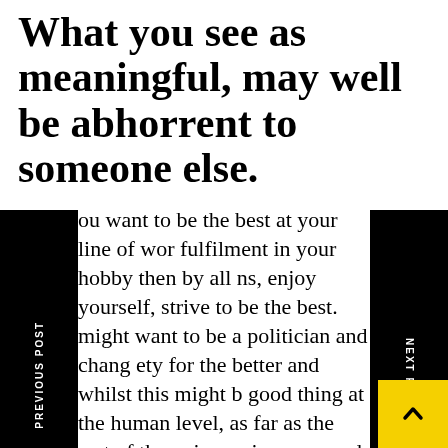What you see as meaningful, may well be abhorrent to someone else.
ou want to be the best at your line of wor fulfilment in your hobby then by all ns, enjoy yourself, strive to be the best. might want to be a politician and chang ety for the better and whilst this might b good thing at the human level, as far as the rest of the universe is concerned it’s unimportant. It’s just a short-lived flash of light among the blackness of eternity. The only truth to